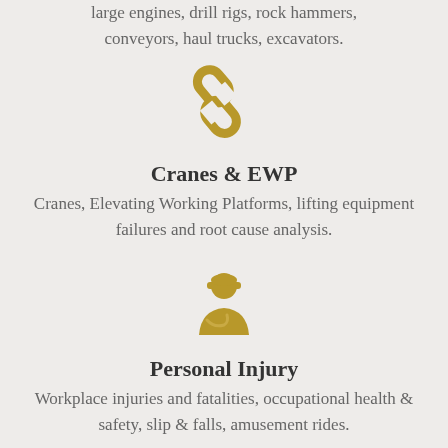large engines, drill rigs, rock hammers, conveyors, haul trucks, excavators.
[Figure (illustration): Gold chain link icon representing Cranes & EWP category]
Cranes & EWP
Cranes, Elevating Working Platforms, lifting equipment failures and root cause analysis.
[Figure (illustration): Gold worker/person icon representing Personal Injury category]
Personal Injury
Workplace injuries and fatalities, occupational health & safety, slip & falls, amusement rides.